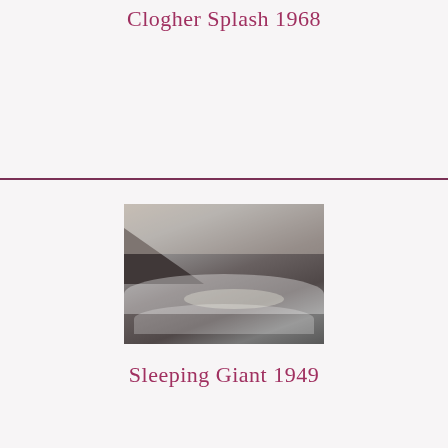Clogher Splash 1968
[Figure (photo): Coastal seascape photograph showing dramatic waves and rocky headland, black and white or muted tones - partial view at top of section]
[Figure (photo): Black and white coastal photograph showing large waves crashing near rocky headland with misty atmosphere - Sleeping Giant 1949]
Sleeping Giant 1949
[Figure (photo): Black and white coastal beach photograph with foam bubbles in foreground and rocky headland, partial view at bottom of page]